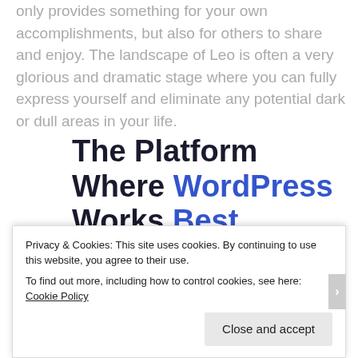only provides something for your own accomplishments, but also for others to share and enjoy. The landscape of Leo is often a very glorious and dramatic stage where you can fully express yourself and eliminate any potential dark or dull areas in your life.
The Platform Where WordPress Works Best
SEE PRICING
Privacy & Cookies: This site uses cookies. By continuing to use this website, you agree to their use. To find out more, including how to control cookies, see here: Cookie Policy
Close and accept